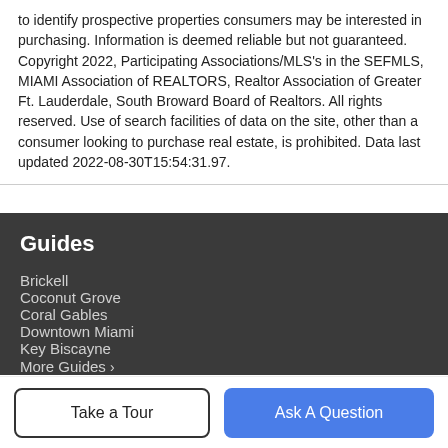to identify prospective properties consumers may be interested in purchasing. Information is deemed reliable but not guaranteed. Copyright 2022, Participating Associations/MLS's in the SEFMLS, MIAMI Association of REALTORS, Realtor Association of Greater Ft. Lauderdale, South Broward Board of Realtors. All rights reserved. Use of search facilities of data on the site, other than a consumer looking to purchase real estate, is prohibited. Data last updated 2022-08-30T15:54:31.97.
Guides
Brickell
Coconut Grove
Coral Gables
Downtown Miami
Key Biscayne
More Guides ›
Take a Tour
Ask A Question